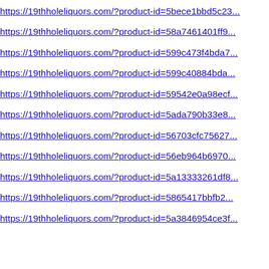https://19thholeliquors.com/?product-id=5bece1bbd5c23...
https://19thholeliquors.com/?product-id=58a7461401ff9...
https://19thholeliquors.com/?product-id=599c473f4bda7...
https://19thholeliquors.com/?product-id=599c40884bda...
https://19thholeliquors.com/?product-id=59542e0a98ecf...
https://19thholeliquors.com/?product-id=5ada790b33e8...
https://19thholeliquors.com/?product-id=56703cfc75627...
https://19thholeliquors.com/?product-id=56eb964b6970...
https://19thholeliquors.com/?product-id=5a13333261df8...
https://19thholeliquors.com/?product-id=5865417bbfb2...
https://19thholeliquors.com/?product-id=5a3846954ce3f...